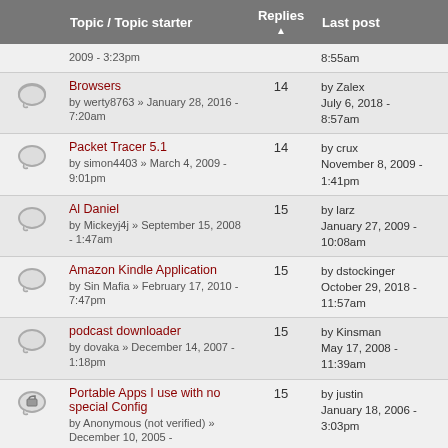|  | Topic / Topic starter | Replies ▲ | Last post |
| --- | --- | --- | --- |
| [icon] | 2009 - 3:23pm |  | 8:55am |
| [icon] | Browsers
by werty8763 » January 28, 2016 - 7:20am | 14 | by Zalex
July 6, 2018 - 8:57am |
| [icon] | Packet Tracer 5.1
by simon4403 » March 4, 2009 - 9:01pm | 14 | by crux
November 8, 2009 - 1:41pm |
| [icon] | Al Daniel
by Mickeyj4j » September 15, 2008 - 1:47am | 15 | by larz
January 27, 2009 - 10:08am |
| [icon] | Amazon Kindle Application
by Sin Mafia » February 17, 2010 - 7:47pm | 15 | by dstockinger
October 29, 2018 - 11:57am |
| [icon] | podcast downloader
by dovaka » December 14, 2007 - 1:18pm | 15 | by Kinsman
May 17, 2008 - 11:39am |
| [lock-icon] | Portable Apps I use with no special Config
by Anonymous (not verified) » December 10, 2005 - | 15 | by justin
January 18, 2006 - 3:03pm |